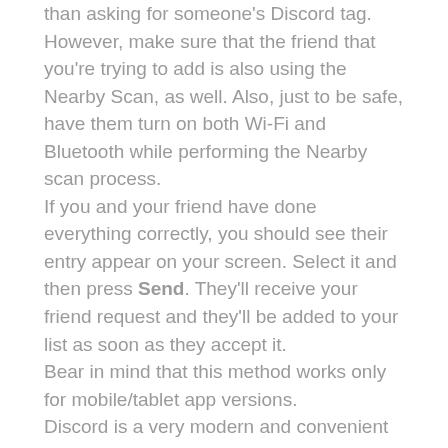than asking for someone's Discord tag. However, make sure that the friend that you're trying to add is also using the Nearby Scan, as well. Also, just to be safe, have them turn on both Wi-Fi and Bluetooth while performing the Nearby scan process. If you and your friend have done everything correctly, you should see their entry appear on your screen. Select it and then press Send. They'll receive your friend request and they'll be added to your list as soon as they accept it. Bear in mind that this method works only for mobile/tablet app versions. Discord is a very modern and convenient social interaction app that features a variety of different options. In order to better navigate Discord and use it to the best of its potential, you should get introduced